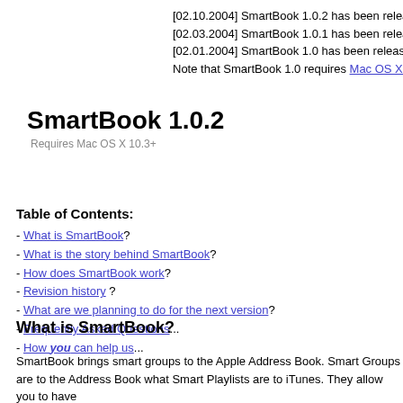[02.10.2004] SmartBook 1.0.2 has been released
[02.03.2004] SmartBook 1.0.1 has been released
[02.01.2004] SmartBook 1.0 has been released!
Note that SmartBook 1.0 requires Mac OS X 10.3+
SmartBook 1.0.2
Requires Mac OS X 10.3+
Table of Contents:
- What is SmartBook?
- What is the story behind SmartBook?
- How does SmartBook work?
- Revision history ?
- What are we planning to do for the next version?
- Frequently Asked Questions...
- How you can help us...
What is SmartBook?
SmartBook brings smart groups to the Apple Address Book. Smart Groups are to the Address Book what Smart Playlists are to iTunes. They allow you to have